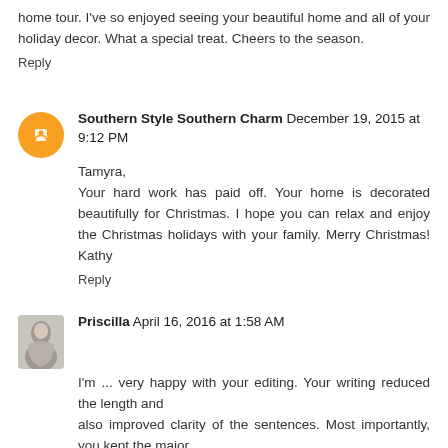home tour. I've so enjoyed seeing your beautiful home and all of your holiday decor. What a special treat. Cheers to the season.
Reply
Southern Style Southern Charm December 19, 2015 at 9:12 PM
Tamyra,
Your hard work has paid off. Your home is decorated beautifully for Christmas. I hope you can relax and enjoy the Christmas holidays with your family. Merry Christmas! Kathy
Reply
Priscilla April 16, 2016 at 1:58 AM
I'm ... very happy with your editing. Your writing reduced the length and also improved clarity of the sentences. Most importantly, you kept the major...